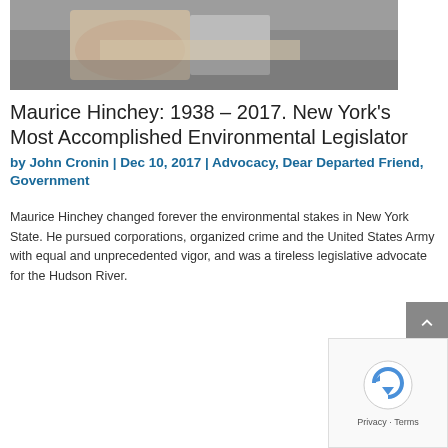[Figure (photo): Close-up photo of clasped/folded hands of an elderly person, partial view of a person in a dark suit]
Maurice Hinchey: 1938 – 2017. New York's Most Accomplished Environmental Legislator
by John Cronin | Dec 10, 2017 | Advocacy, Dear Departed Friend, Government
Maurice Hinchey changed forever the environmental stakes in New York State. He pursued corporations, organized crime and the United States Army with equal and unprecedented vigor, and was a tireless legislative advocate for the Hudson River.